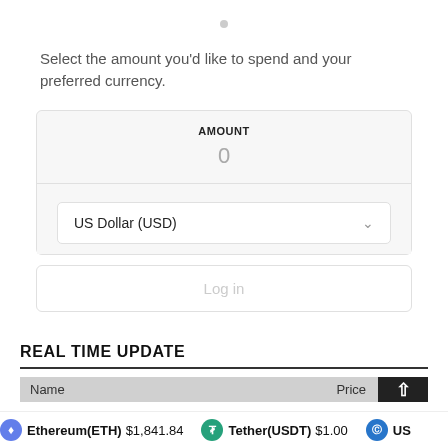Select the amount you'd like to spend and your preferred currency.
AMOUNT
0
US Dollar (USD)
Log in
REAL TIME UPDATE
| Name | Price |
| --- | --- |
Ethereum(ETH) $1,841.84   Tether(USDT) $1.00   US...